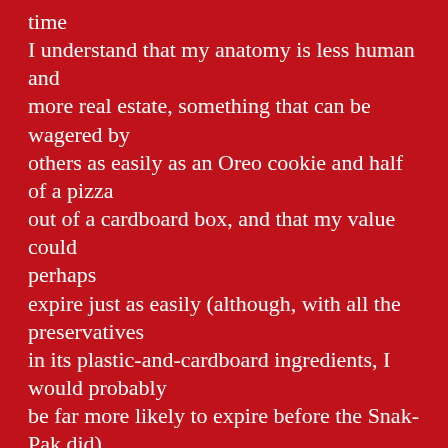time
I understand that my anatomy is less human and more real estate, something that can be wagered by others as easily as an Oreo cookie and half of a pizza out of a cardboard box, and that my value could perhaps
expire just as easily (although, with all the preservatives
in its plastic-and-cardboard ingredients, I would probably
be far more likely to expire before the Snak-Pak did).
No one remembers how the match wound up
but not a single soul present will ever forget
watching the the two boys battling over
black and white boxes on carpet squares, the
lightning talking trash outside, the flickering
fl...